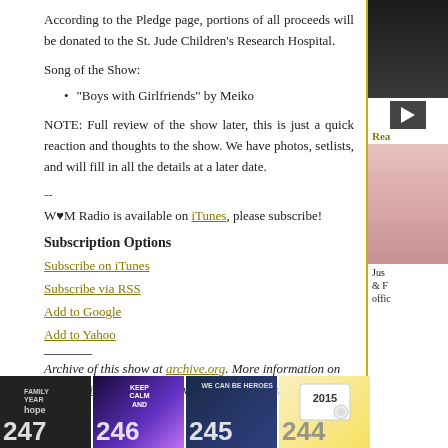According to the Pledge page, portions of all proceeds will be donated to the St. Jude Children's Research Hospital.
Song of the Show:
"Boys with Girlfriends" by Meiko
NOTE: Full review of the show later, this is just a quick reaction and thoughts to the show. We have photos, setlists, and will fill in all the details at a later date.
--
W♥M Radio is available on iTunes, please subscribe!
Subscription Options
Subscribe on iTunes
Subscribe via RSS
Add to Google
Add to Yahoo
Archive of this show at archive.org. More information on podomatic.com. Recorded with CallGraph, and Audacity.
[Figure (photo): Four thumbnail images at the bottom: episode 247 (Family Year, Hope), episode 246 (Keep Calm), episode 245 (We Can Be Heroes), episode 244 (2015 drawing)]
[Figure (photo): Right sidebar with a dark photo (top), play button, 'Rea' header text, and a person portrait photo with partial text 'Jus... & F... offic...']